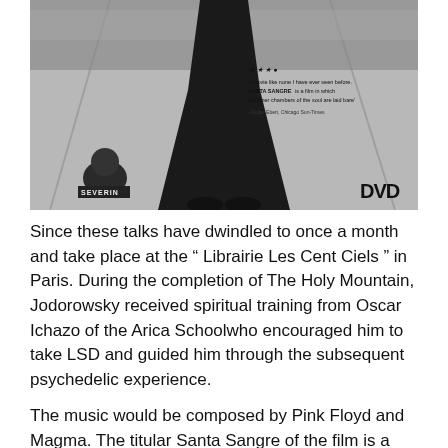[Figure (photo): Black and white movie poster/DVD cover for Santa Sangre by Alejandro Jodorowsky, showing a large dark figure standing in the center of a street with a small crouching figure at bottom left, a quote about the film, and a DVD logo at bottom right. SEVERIN label visible at bottom left.]
Since these talks have dwindled to once a month and take place at the " Librairie Les Cent Ciels " in Paris. During the completion of The Holy Mountain, Jodorowsky received spiritual training from Oscar Ichazo of the Arica Schoolwho encouraged him to take LSD and guided him through the subsequent psychedelic experience.
The music would be composed by Pink Floyd and Magma. The titular Santa Sangre of the film is a Catholic